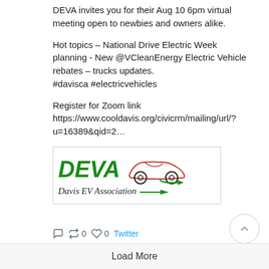DEVA invites you for their Aug 10 6pm virtual meeting open to newbies and owners alike.
Hot topics – National Drive Electric Week planning - New @VCleanEnergy Electric Vehicle rebates – trucks updates.
#davisca #electricvehicles
Register for Zoom link https://www.cooldavis.org/civicrm/mailing/url/?u=16389&qid=2…
[Figure (logo): DEVA Davis EV Association logo with green italic DEVA text and red car silhouette outline, subtitle 'Davis EV Association' with green arrow]
0  0  0  Twitter
Load More